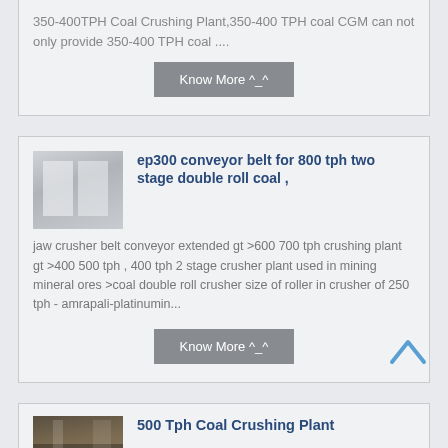350-400TPH Coal Crushing Plant,350-400 TPH coal CGM can not only provide 350-400 TPH coal ....
Know More ^_^
[Figure (photo): Industrial conveyor belt or roller machinery equipment photo]
ep300 conveyor belt for 800 tph two stage double roll coal ,
jaw crusher belt conveyor extended gt >600 700 tph crushing plant gt >400 500 tph , 400 tph 2 stage crusher plant used in mining mineral ores >coal double roll crusher size of roller in crusher of 250 tph - amrapali-platinumin...
Know More ^_^
[Figure (photo): Industrial mining or crushing plant facility photo]
500 Tph Coal Crushing Plant